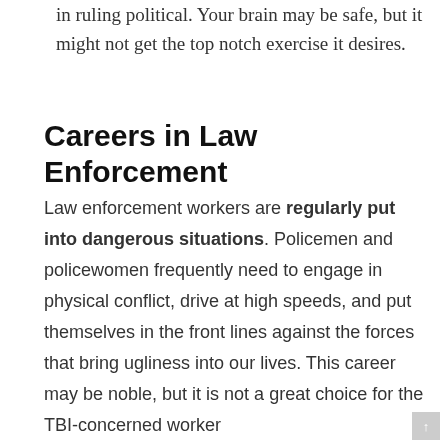in ruling political. Your brain may be safe, but it might not get the top notch exercise it desires.
Careers in Law Enforcement
Law enforcement workers are regularly put into dangerous situations. Policemen and policewomen frequently need to engage in physical conflict, drive at high speeds, and put themselves in the front lines against the forces that bring ugliness into our lives. This career may be noble, but it is not a great choice for the TBI-concerned worker